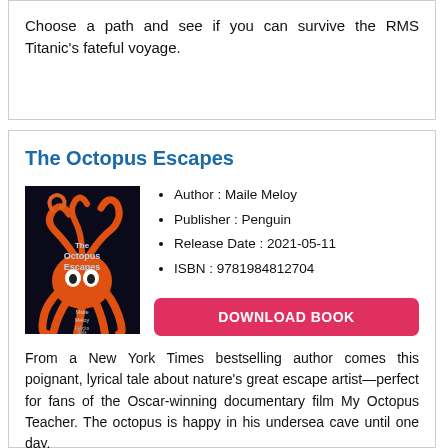Choose a path and see if you can survive the RMS Titanic's fateful voyage.
The Octopus Escapes
Author : Maile Meloy
Publisher : Penguin
Release Date : 2021-05-11
ISBN : 9781984812704
[Figure (illustration): Book cover of The Octopus Escapes by Maile Meloy, illustrated by Felicita Sala. Orange octopus on a dark background with tentacles.]
DOWNLOAD BOOK
From a New York Times bestselling author comes this poignant, lyrical tale about nature's great escape artist—perfect for fans of the Oscar-winning documentary film My Octopus Teacher. The octopus is happy in his undersea cave until one day,